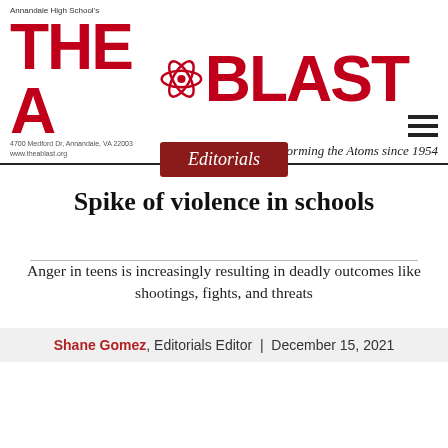Annandale High School's THE A-BLAST — Informing the Atoms since 1954
Editorials
Spike of violence in schools
Anger in teens is increasingly resulting in deadly outcomes like shootings, fights, and threats
Shane Gomez, Editorials Editor | December 15, 2021
[Figure (other): SNO ads banner with owl image and blue stripe]